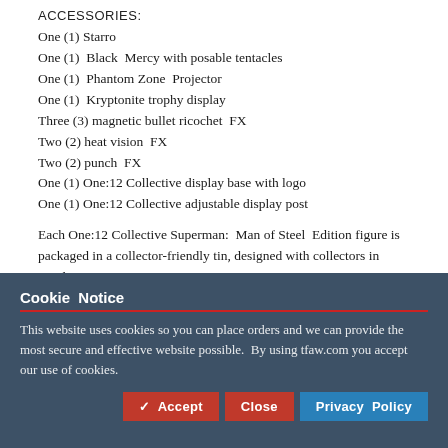ACCESSORIES:
One (1) Starro
One (1)  Black  Mercy with posable tentacles
One (1)  Phantom Zone  Projector
One (1)  Kryptonite trophy display
Three (3) magnetic bullet ricochet  FX
Two (2) heat vision  FX
Two (2) punch  FX
One (1) One:12 Collective display base with logo
One (1) One:12 Collective adjustable display post
Each One:12 Collective Superman:  Man of Steel  Edition figure is packaged in a collector-friendly tin, designed with collectors in mind.
Cookie Notice
This website uses cookies so you can place orders and we can provide the most secure and effective website possible.  By using tfaw.com you accept our use of cookies.